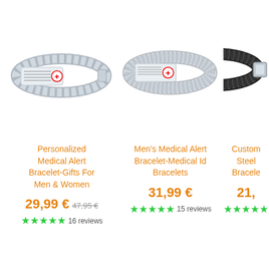[Figure (photo): Personalized medical alert bracelet with chain link band and red medical symbol tag]
[Figure (photo): Men's medical alert bracelet with mesh/expandable steel band and red medical symbol tag]
[Figure (photo): Custom steel bracelet with black braided leather band and metal clasp (partially visible)]
Personalized Medical Alert Bracelet-Gifts For Men & Women
29,99 € 47,95 €
★★★★★ 16 reviews
Men's Medical Alert Bracelet-Medical Id Bracelets
31,99 €
★★★★★ 15 reviews
Custom Steel Bracele
21,
★★★★★